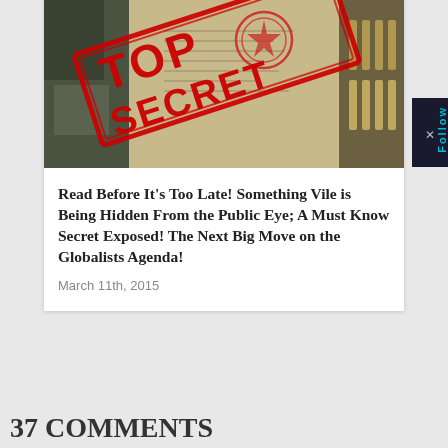[Figure (photo): Photo of classified CIA documents stamped with large red TOP SECRET text at an angle]
Read Before It's Too Late! Something Vile is Being Hidden From the Public Eye; A Must Know Secret Exposed! The Next Big Move on the Globalists Agenda!
March 11th, 2015
37 COMMENTS